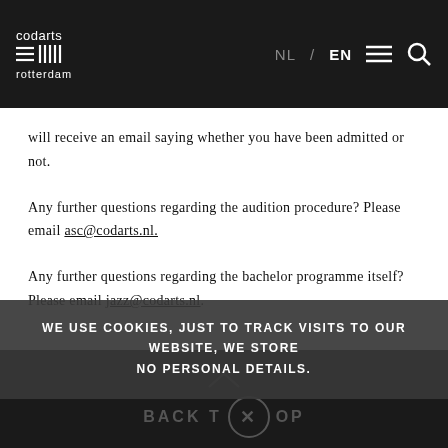codarts rotterdam — NL / EN
will receive an email saying whether you have been admitted or not.
Any further questions regarding the audition procedure? Please email asc@codarts.nl.
Any further questions regarding the bachelor programme itself? Please email jazz@codarts.nl.
WE USE COOKIES, JUST TO TRACK VISITS TO OUR WEBSITE, WE STORE NO PERSONAL DETAILS.
BACK TO TOP